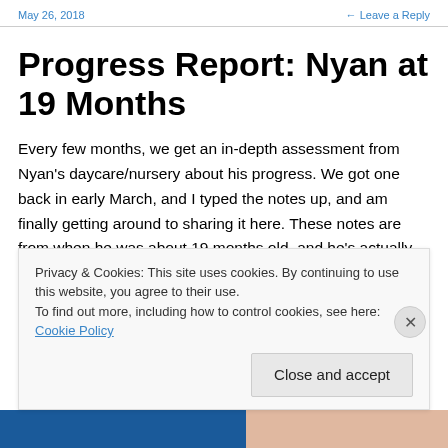May 26, 2018   ← Leave a Reply
Progress Report: Nyan at 19 Months
Every few months, we get an in-depth assessment from Nyan's daycare/nursery about his progress. We got one back in early March, and I typed the notes up, and am finally getting around to sharing it here. These notes are from when he was about 19 months old, and he's actually developed quite a bit since then, especially when it comes
Privacy & Cookies: This site uses cookies. By continuing to use this website, you agree to their use.
To find out more, including how to control cookies, see here: Cookie Policy
Close and accept